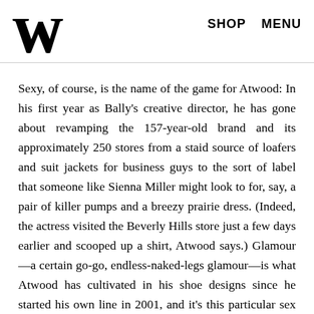W  SHOP  MENU
Sexy, of course, is the name of the game for Atwood: In his first year as Bally's creative director, he has gone about revamping the 157-year-old brand and its approximately 250 stores from a staid source of loafers and suit jackets for business guys to the sort of label that someone like Sienna Miller might look to for, say, a pair of killer pumps and a breezy prairie dress. (Indeed, the actress visited the Beverly Hills store just a few days earlier and scooped up a shirt, Atwood says.) Glamour—a certain go-go, endless-naked-legs glamour—is what Atwood has cultivated in his shoe designs since he started his own line in 2001, and it's this particular sex appeal that caught the eye of Bally CEO Marco Franchini while he was casting about for a revitalizer. “I liked